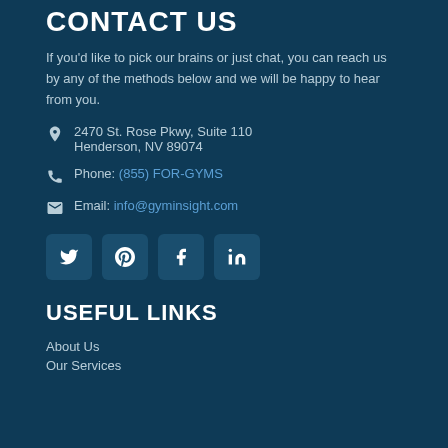CONTACT US
If you'd like to pick our brains or just chat, you can reach us by any of the methods below and we will be happy to hear from you.
2470 St. Rose Pkwy, Suite 110 Henderson, NV 89074
Phone: (855) FOR-GYMS
Email: info@gyminsight.com
[Figure (infographic): Row of four social media icon buttons: Twitter, Pinterest, Facebook, LinkedIn]
USEFUL LINKS
About Us
Our Services